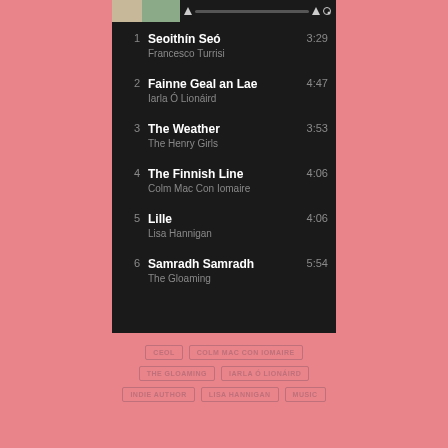[Figure (screenshot): Music player app showing a playlist of 6 tracks on dark background]
1  Seoithín Seó  3:29
Francesco Turrisi
2  Fainne Geal an Lae  4:47
Iarla Ó Lionáird
3  The Weather  3:53
The Henry Girls
4  The Finnish Line  4:06
Colm Mac Con Iomaire
5  Lille  4:06
Lisa Hannigan
6  Samradh Samradh  5:54
The Gloaming
CEOL  COLM MAC CON IOMAIRE  THE GLOAMING  IARLA Ó LIONÁIRD  INDIE AUTHOR  LISA HANNIGAN  MUSIC